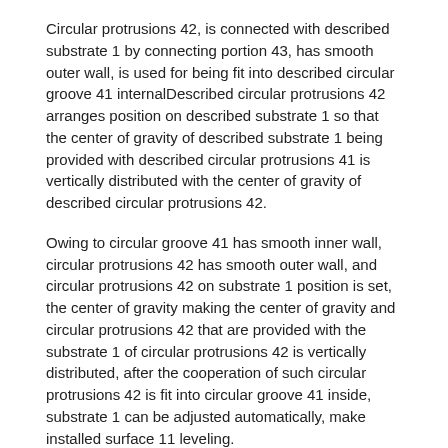Circular protrusions 42, is connected with described substrate 1 by connecting portion 43, has smooth outer wall, is used for being fit into described circular groove 41 internal Described circular protrusions 42 arranges position on described substrate 1 so that the center of gravity of described substrate 1 being provided with described circular protrusions 41 is vertically distributed with the center of gravity of described circular protrusions 42.
Owing to circular groove 41 has smooth inner wall, circular protrusions 42 has smooth outer wall, and circular protrusions 42 on substrate 1 position is set, the center of gravity making the center of gravity and circular protrusions 42 that are provided with the substrate 1 of circular protrusions 42 is vertically distributed, after the cooperation of such circular protrusions 42 is fit into circular groove 41 inside, substrate 1 can be adjusted automatically, make installed surface 11 leveling.
As the deformation design scheme to fit structure, described fit structure is it is also possible that include: circular groove 41, is opened on described substrate 1, has